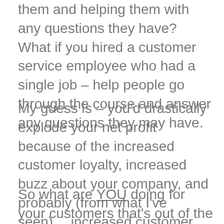them and helping them with any questions they have? What if you hired a customer service employee who had a single job – help people go through the course and answer any questions they may have.
My guess is – you'd drastically explode your net profit because of the increased customer loyalty, increased buzz about your company, and probably (from what I've seen)… increased customer lifetime value.
So what are YOU doing for your customers that's out of the ordinary and cool?